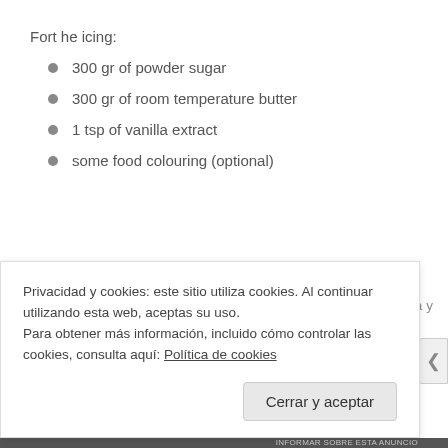Fort he icing:
300 gr of powder sugar
300 gr of room temperature butter
1 tsp of vanilla extract
some food colouring (optional)
Precalentamos el horno a 180ºC. Tamizamos la harina, maicena y
Privacidad y cookies: este sitio utiliza cookies. Al continuar utilizando esta web, aceptas su uso.
Para obtener más información, incluido cómo controlar las cookies, consulta aquí: Política de cookies
Cerrar y aceptar